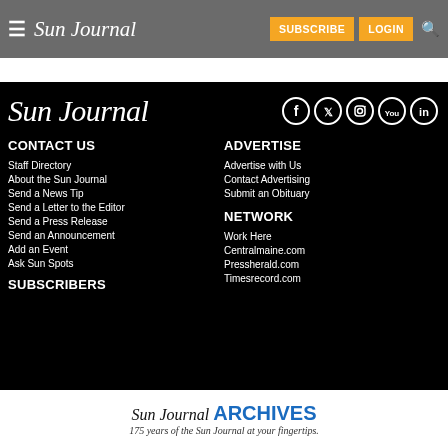Sun Journal — SUBSCRIBE | LOGIN
[Figure (logo): Sun Journal footer logo in white serif italic text on black background]
[Figure (illustration): Social media icons: Facebook, Twitter, Instagram, YouTube, LinkedIn — white circles on black background]
CONTACT US
Staff Directory
About the Sun Journal
Send a News Tip
Send a Letter to the Editor
Send a Press Release
Send an Announcement
Add an Event
Ask Sun Spots
SUBSCRIBERS
ADVERTISE
Advertise with Us
Contact Advertising
Submit an Obituary
NETWORK
Work Here
Centralmaine.com
Pressherald.com
Timesrecord.com
[Figure (logo): Sun Journal ARCHIVES advertisement banner: '175 years of the Sun Journal at your fingertips.']